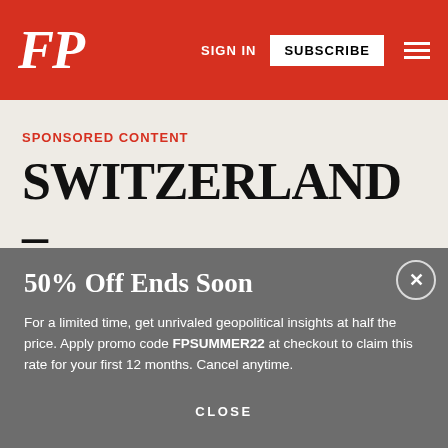FP | SIGN IN | SUBSCRIBE
SPONSORED CONTENT
SWITZERLAND – The Worldi…
50% Off Ends Soon
For a limited time, get unrivaled geopolitical insights at half the price. Apply promo code FPSUMMER22 at checkout to claim this rate for your first 12 months. Cancel anytime.
GET STARTED
CLOSE